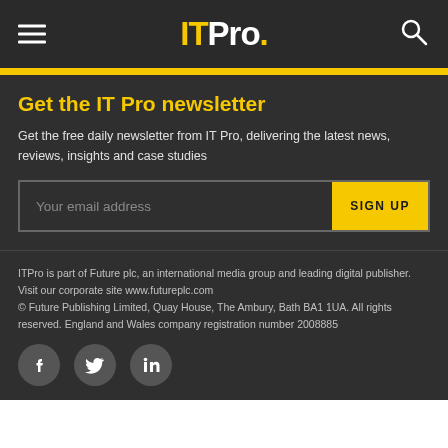ITPro.
Get the IT Pro newsletter
Get the free daily newsletter from IT Pro, delivering the latest news, reviews, insights and case studies
Your email address — SIGN UP button
ITPro is part of Future plc, an international media group and leading digital publisher. Visit our corporate site www.futureplc.com © Future Publishing Limited, Quay House, The Ambury, Bath BA1 1UA. All rights reserved. England and Wales company registration number 2008885